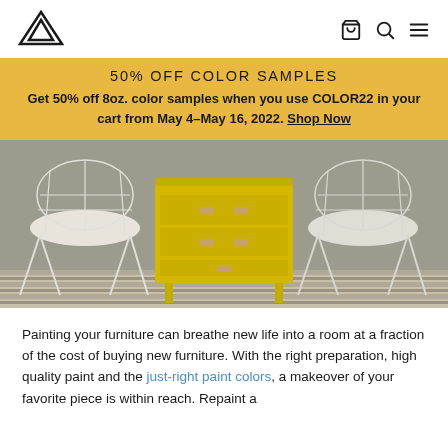Navigation header with logo and icons
50% OFF COLOR SAMPLES
Get 50% off 8oz. color samples when you use COLOR22 in your cart from May 4–May 16, 2022. Shop Now
[Figure (photo): Interior room scene with a yellow painted dresser flanked by two white wire mesh chairs on a striped rug against a gray wall]
Painting your furniture can breathe new life into a room at a fraction of the cost of buying new furniture. With the right preparation, high quality paint and the just-right paint colors, a makeover of your favorite piece is within reach. Repaint a